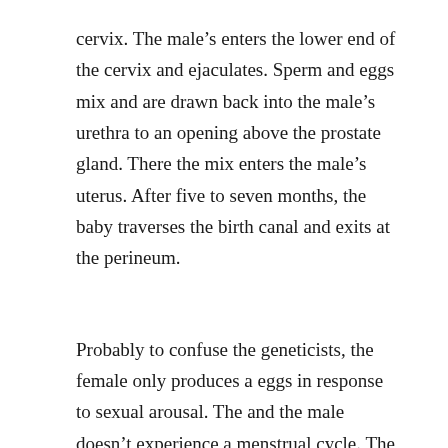cervix. The male’s enters the lower end of the cervix and ejaculates. Sperm and eggs mix and are drawn back into the male’s urethra to an opening above the prostate gland. There the mix enters the male’s uterus. After five to seven months, the baby traverses the birth canal and exits at the perineum.
Probably to confuse the geneticists, the female only produces a eggs in response to sexual arousal. The and the male doesn’t experience a menstrual cycle. The uterus is a small insignificant organ between the urethra and the bowel until it is awakened in response to sexual activity.
This new species is called Homo schticksia (Schtickists) because at an early age, soon after gaining the ability to